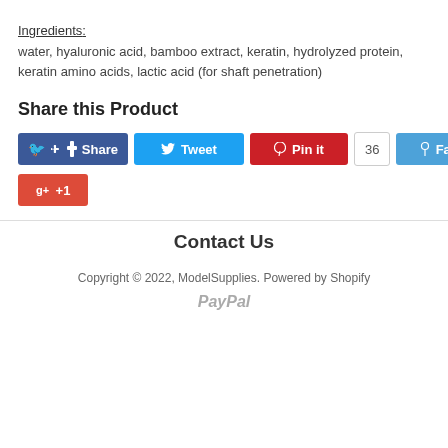Ingredients: water, hyaluronic acid, bamboo extract, keratin, hydrolyzed protein, keratin amino acids, lactic acid (for shaft penetration)
Share this Product
[Figure (infographic): Social sharing buttons: Facebook Share, Tweet, Pinterest Pin it (36 pins), Fancy, Google +1]
Contact Us
Copyright © 2022, ModelSupplies. Powered by Shopify
[Figure (logo): PayPal logo in italic gray text]